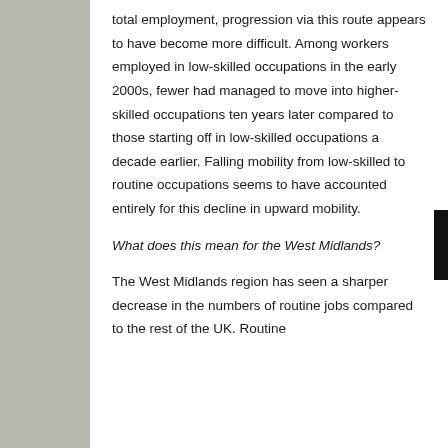total employment, progression via this route appears to have become more difficult. Among workers employed in low-skilled occupations in the early 2000s, fewer had managed to move into higher-skilled occupations ten years later compared to those starting off in low-skilled occupations a decade earlier. Falling mobility from low-skilled to routine occupations seems to have accounted entirely for this decline in upward mobility.
What does this mean for the West Midlands?
The West Midlands region has seen a sharper decrease in the numbers of routine jobs compared to the rest of the UK. Routine